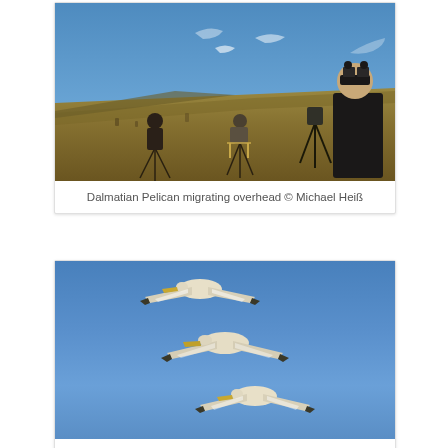[Figure (photo): People with telescopes and tripods on a hillside observing birds migrating overhead against a blue sky]
Dalmatian Pelican migrating overhead © Michael Heiß
[Figure (photo): Three Dalmatian Pelicans flying in formation against a clear blue sky, photographed from below]
Dalmatian Pelicans © Kai Gauger